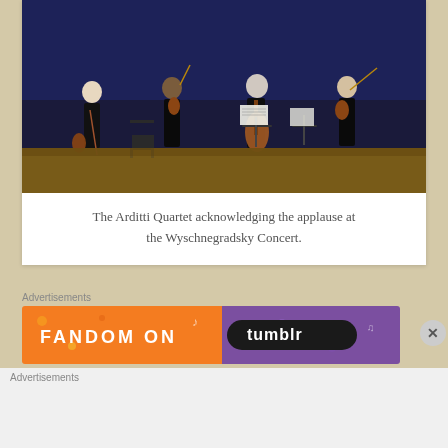[Figure (photo): Four musicians of the Arditti Quartet standing on a concert stage with blue lighting, holding string instruments (violins and cello) and bows, with music stands visible]
The Arditti Quartet acknowledging the applause at the Wyschnegradsky Concert.
Advertisements
[Figure (other): Fandom on Tumblr advertisement banner with colorful orange and purple background]
Advertisements
[Figure (other): Pocket Casts advertisement: An app by listeners, for listeners.]